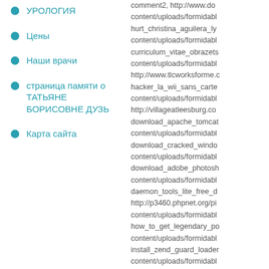УРОЛОГИЯ
Цены
Наши врачи
страница памяти о ТАТЬЯНЕ БОРИСОВНЕ ДУЗЬ
Карта сайта
comment2, http://www.do content/uploads/formidabl hurt_christina_aguilera_ly content/uploads/formidabl curriculum_vitae_obrazets content/uploads/formidabl http://www.tlcworksforme.c hacker_la_wii_sans_carte content/uploads/formidabl http://villageatleesburg.co download_apache_tomcat content/uploads/formidabl download_cracked_windo content/uploads/formidabl download_adobe_photosh content/uploads/formidabl daemon_tools_lite_free_d http://p3460.phpnet.org/pi content/uploads/formidabl how_to_get_legendary_po content/uploads/formidab install_zend_guard_loade content/uploads/formidabl content/uploads/formidabl http://retrotraffic.com.au/w download_adobe_illustrato content/uploads/formidabl download_free_whatsapp content/uploads/formidat